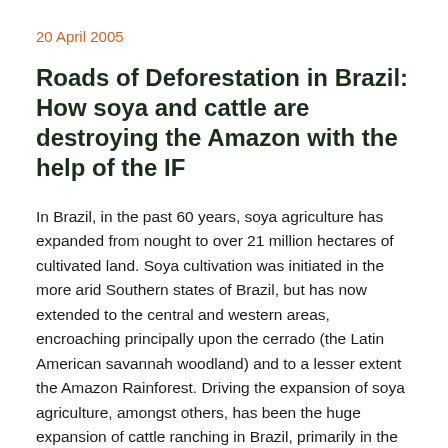20 April 2005
Roads of Deforestation in Brazil: How soya and cattle are destroying the Amazon with the help of the IF
In Brazil, in the past 60 years, soya agriculture has expanded from nought to over 21 million hectares of cultivated land. Soya cultivation was initiated in the more arid Southern states of Brazil, but has now extended to the central and western areas, encroaching principally upon the cerrado (the Latin American savannah woodland) and to a lesser extent the Amazon Rainforest. Driving the expansion of soya agriculture, amongst others, has been the huge expansion of cattle ranching in Brazil, primarily in the states of Mato Grosso, Pará and Rondônia. The number of head of cattle has increased from 26 million in 1990 to 164 million